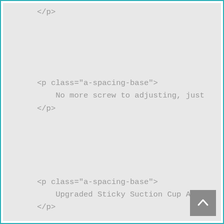</p>
<p class="a-spacing-base">
    No more screw to adjusting, just
</p>
<p class="a-spacing-base">
    Upgraded Sticky Suction Cup And
</p>